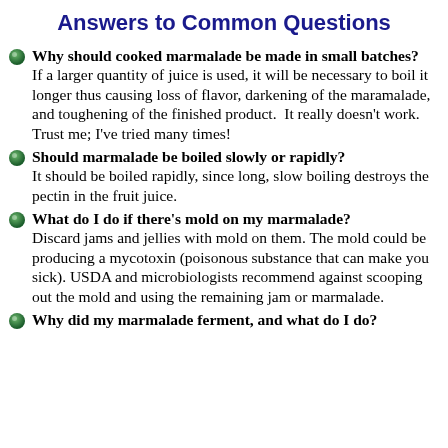Answers to Common Questions
Why should cooked marmalade be made in small batches? If a larger quantity of juice is used, it will be necessary to boil it longer thus causing loss of flavor, darkening of the maramalade, and toughening of the finished product.  It really doesn't work. Trust me; I've tried many times!
Should marmalade be boiled slowly or rapidly? It should be boiled rapidly, since long, slow boiling destroys the pectin in the fruit juice.
What do I do if there's mold on my marmalade? Discard jams and jellies with mold on them. The mold could be producing a mycotoxin (poisonous substance that can make you sick). USDA and microbiologists recommend against scooping out the mold and using the remaining jam or marmalade.
Why did my marmalade ferment, and what do I do?